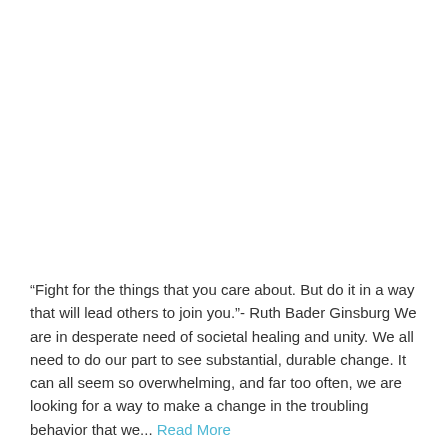“Fight for the things that you care about. But do it in a way that will lead others to join you.”- Ruth Bader Ginsburg We are in desperate need of societal healing and unity. We all need to do our part to see substantial, durable change. It can all seem so overwhelming, and far too often, we are looking for a way to make a change in the troubling behavior that we... Read More